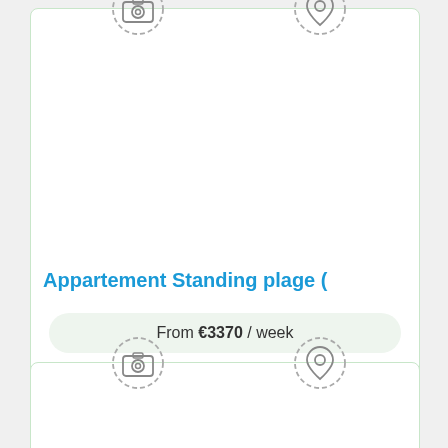[Figure (other): Listing card with dashed-circle camera icon and location pin icon at top, empty image area, property title, price, and booking button]
Appartement Standing plage (
From €3370 / week
Book Now
[Figure (other): Second listing card (partial) with dashed-circle camera icon and location pin icon at top, empty image area]